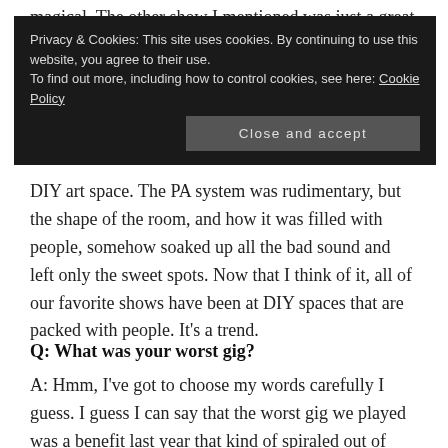magical. The other show I mentioned was just a great
Privacy & Cookies: This site uses cookies. By continuing to use this website, you agree to their use.
To find out more, including how to control cookies, see here: Cookie Policy
[Close and accept]
DIY art space. The PA system was rudimentary, but the shape of the room, and how it was filled with people, somehow soaked up all the bad sound and left only the sweet spots. Now that I think of it, all of our favorite shows have been at DIY spaces that are packed with people. It's a trend.
Q: What was your worst gig?
A: Hmm, I've got to choose my words carefully I guess. I guess I can say that the worst gig we played was a benefit last year that kind of spiraled out of control. But that doesn't count, I suppose, because we never ended up